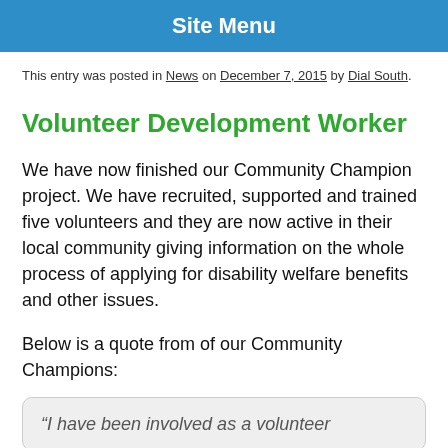Site Menu
This entry was posted in News on December 7, 2015 by Dial South.
Volunteer Development Worker
We have now finished our Community Champion project. We have recruited, supported and trained five volunteers and they are now active in their local community giving information on the whole process of applying for disability welfare benefits and other issues.
Below is a quote from of our Community Champions:
“I have been involved as a volunteer